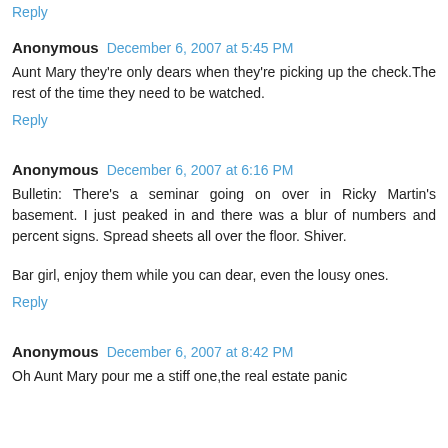Reply
Anonymous December 6, 2007 at 5:45 PM
Aunt Mary they're only dears when they're picking up the check.The rest of the time they need to be watched.
Reply
Anonymous December 6, 2007 at 6:16 PM
Bulletin: There's a seminar going on over in Ricky Martin's basement. I just peaked in and there was a blur of numbers and percent signs. Spread sheets all over the floor. Shiver.
Bar girl, enjoy them while you can dear, even the lousy ones.
Reply
Anonymous December 6, 2007 at 8:42 PM
Oh Aunt Mary pour me a stiff one,the real estate panic